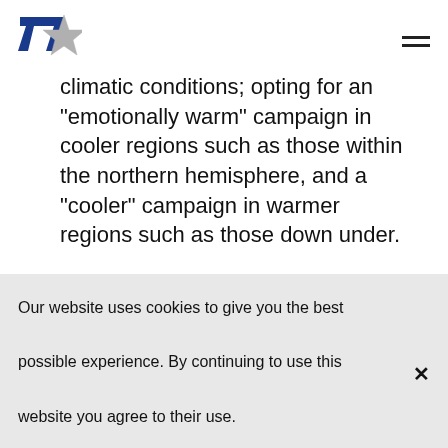[Figure (logo): Logo with number 7 in blue and a grey star, text '7star' implied]
climatic conditions; opting for an “emotionally warm” campaign in cooler regions such as those within the northern hemisphere, and a “cooler” campaign in warmer regions such as those down under.
Our website uses cookies to give you the best possible experience. By continuing to use this website you agree to their use.